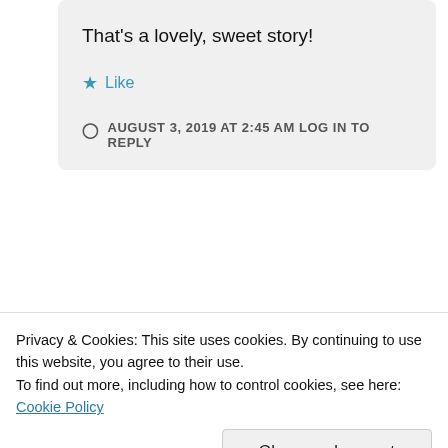That's a lovely, sweet story!
★ Like
AUGUST 3, 2019 AT 2:45 AM LOG IN TO REPLY
[Figure (illustration): Red circular avatar with cartoon Winnie-the-Pooh and Piglet characters]
Anjana
Privacy & Cookies: This site uses cookies. By continuing to use this website, you agree to their use. To find out more, including how to control cookies, see here: Cookie Policy
Close and accept
blog-o-sphere 🙂